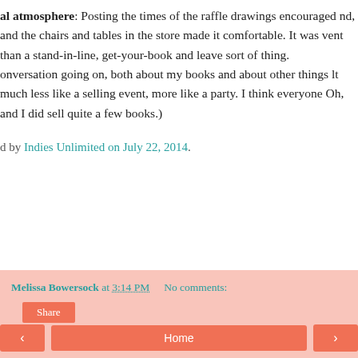al atmosphere: Posting the times of the raffle drawings encouraged nd, and the chairs and tables in the store made it comfortable. It was vent than a stand-in-line, get-your-book and leave sort of thing. onversation going on, both about my books and about other things lt much less like a selling event, more like a party. I think everyone Oh, and I did sell quite a few books.)
d by Indies Unlimited on July 22, 2014.
Melissa Bowersock at 3:14 PM   No comments:
Share
< Home >